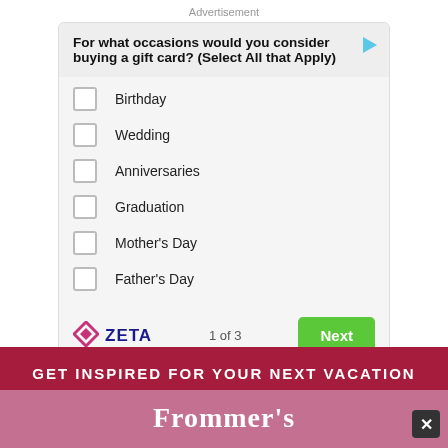Advertisement
For what occasions would you consider buying a gift card? (Select All that Apply)
Birthday
Wedding
Anniversaries
Graduation
Mother's Day
Father's Day
ZETA  1 of 3  Next
GET INSPIRED FOR YOUR NEXT VACATION
Frommer's